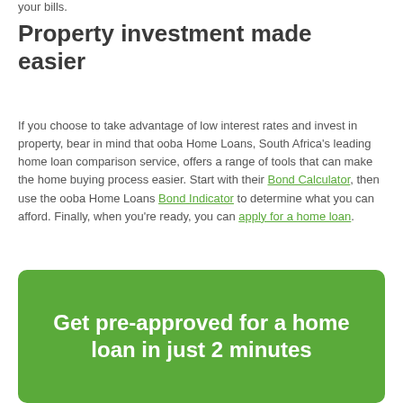your bills.
Property investment made easier
If you choose to take advantage of low interest rates and invest in property, bear in mind that ooba Home Loans, South Africa's leading home loan comparison service, offers a range of tools that can make the home buying process easier. Start with their Bond Calculator, then use the ooba Home Loans Bond Indicator to determine what you can afford. Finally, when you're ready, you can apply for a home loan.
Get pre-approved for a home loan in just 2 minutes